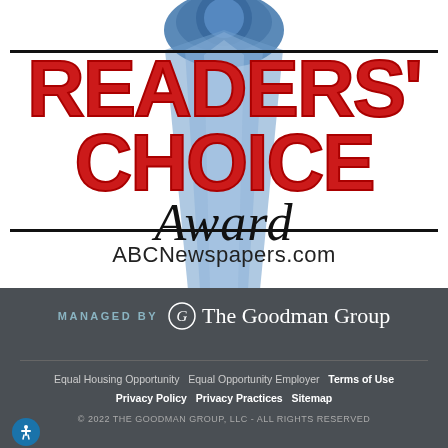[Figure (logo): Readers' Choice Award logo with blue ribbon/rosette background, red bold uppercase text 'READERS' CHOICE' and cursive black 'Award' text]
ABCNewspapers.com
MANAGED BY  The Goodman Group
Equal Housing Opportunity  Equal Opportunity Employer  Terms of Use  Privacy Policy  Privacy Practices  Sitemap
© 2022 THE GOODMAN GROUP, LLC - ALL RIGHTS RESERVED